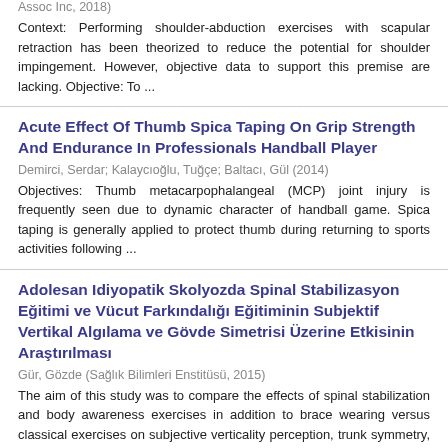Assoc Inc, 2018) Context: Performing shoulder-abduction exercises with scapular retraction has been theorized to reduce the potential for shoulder impingement. However, objective data to support this premise are lacking. Objective: To ...
Acute Effect Of Thumb Spica Taping On Grip Strength And Endurance In Professionals Handball Player
Demirci, Serdar; Kalaycıoğlu, Tuğçe; Baltacı, Gül (2014)
Objectives: Thumb metacarpophalangeal (MCP) joint injury is frequently seen due to dynamic character of handball game. Spica taping is generally applied to protect thumb during returning to sports activities following ...
Adolesan Idiyopatik Skolyozda Spinal Stabilizasyon Eğitimi ve Vücut Farkındalığı Eğitiminin Subjektif Vertikal Algılama ve Gövde Simetrisi Üzerine Etkisinin Araştırılması
Gür, Gözde (Sağlık Bilimleri Enstitüsü, 2015)
The aim of this study was to compare the effects of spinal stabilization and body awareness exercises in addition to brace wearing versus classical exercises on subjective verticality perception, trunk symmetry, cosmetic ...